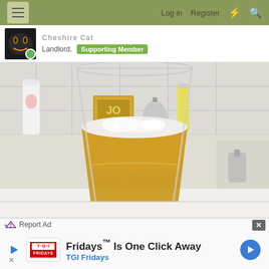Log in  Register
Landlord.  Supporting Member
[Figure (photo): A tall clear pint glass filled with golden beer and a white foam head, sitting on a white bathroom counter. In the background through the glass are visible a small gold tin/box, a silver service bell, and other bathroom items on a white tiled shelf.]
Report Ad
Fridays™ Is One Click Away  TGI Fridays